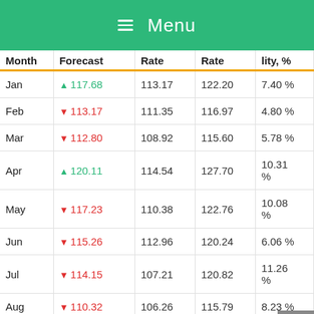Menu
| Month | Forecast | Rate | Rate | lity, % |
| --- | --- | --- | --- | --- |
| Jan | ▲ 117.68 | 113.17 | 122.20 | 7.40 % |
| Feb | ▼ 113.17 | 111.35 | 116.97 | 4.80 % |
| Mar | ▼ 112.80 | 108.92 | 115.60 | 5.78 % |
| Apr | ▲ 120.11 | 114.54 | 127.70 | 10.31 % |
| May | ▼ 117.23 | 110.38 | 122.76 | 10.08 % |
| Jun | ▼ 115.26 | 112.96 | 120.24 | 6.06 % |
| Jul | ▼ 114.15 | 107.21 | 120.82 | 11.26 % |
| Aug | ▼ 110.32 | 106.26 | 115.79 | 8.23 % |
|  |  |  |  | 10.39 |